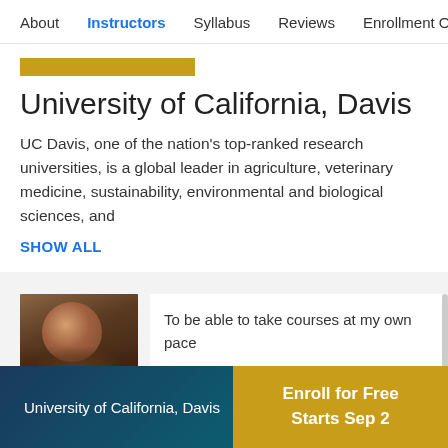About    Instructors    Syllabus    Reviews    Enrollment Opt
[Figure (other): Gold horizontal accent bar]
University of California, Davis
UC Davis, one of the nation’s top-ranked research universities, is a global leader in agriculture, veterinary medicine, sustainability, environmental and biological sciences, and
SHOW ALL
[Figure (photo): Profile photo of a person with dark hair]
To be able to take courses at my own pace
University of California, Davis    Enroll for Free Starts Sep 2